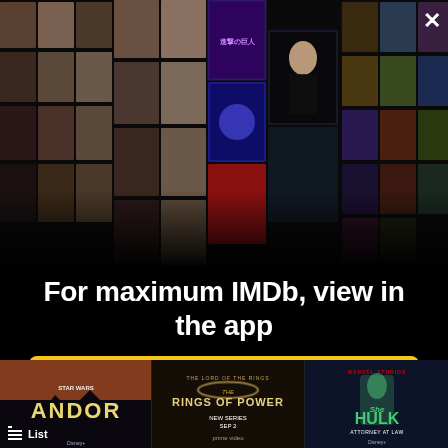[Figure (screenshot): IMDb app promotion overlay screenshot showing a mosaic of celebrity photos and movie/TV show posters arranged in a 3D perspective fan shape on a black background]
For maximum IMDb, view in the app
Get the app
[Figure (screenshot): Bottom strip showing three TV show/movie thumbnails: Star Wars Andor, The Lord of the Rings: The Rings of Power (New Series Sep 2 | prime video), and She-Hulk Attorney at Law (Marvel Studios). The Andor thumbnail has a List icon overlay.]